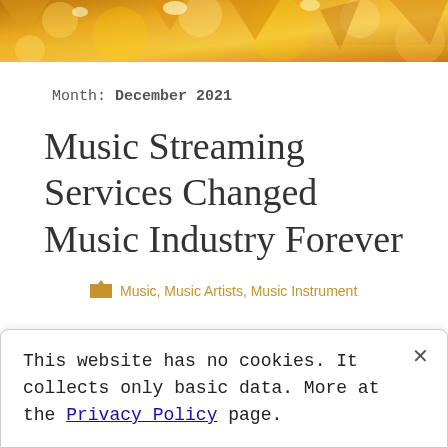[Figure (photo): Golden/amber bokeh background header image with geometric light reflections in warm yellow and orange tones]
Month: December 2021
Music Streaming Services Changed Music Industry Forever
Music, Music Artists, Music Instrument
This website has no cookies. It collects only basic data. More at the Privacy Policy page.